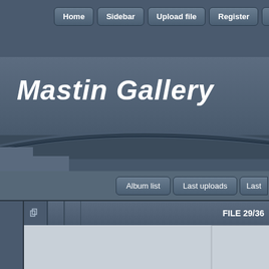Home | Sidebar | Upload file | Register | Login
Mastin Gallery
[Figure (screenshot): Decorative curved lines in the header banner of a web gallery application]
Album list | Last uploads | Last
FILE 29/36